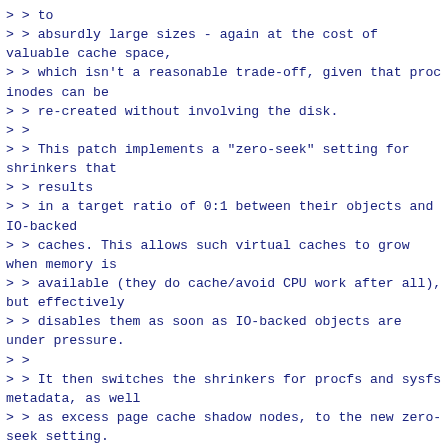> > to
> > absurdly large sizes - again at the cost of valuable cache space,
> > which isn't a reasonable trade-off, given that proc inodes can be
> > re-created without involving the disk.
> >
> > This patch implements a "zero-seek" setting for shrinkers that
> > results
> > in a target ratio of 0:1 between their objects and IO-backed
> > caches. This allows such virtual caches to grow when memory is
> > available (they do cache/avoid CPU work after all), but effectively
> > disables them as soon as IO-backed objects are under pressure.
> >
> > It then switches the shrinkers for procfs and sysfs metadata, as well
> > as excess page cache shadow nodes, to the new zero-seek setting.
>
> This patch looks like a great step in the right
> direction, though I do not know whether it is
> aggressive enough.
>
> Given that internal slab fragmentation will
> prevent the slab cache from returning a slab to